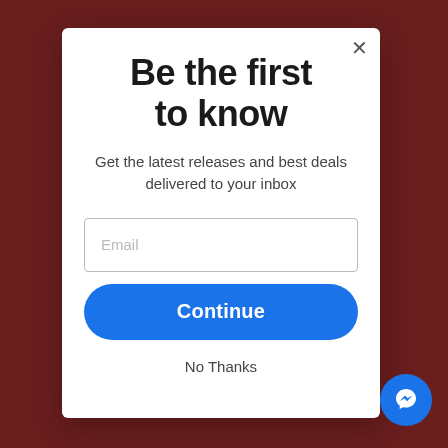[Figure (screenshot): Background of a website with dark reddish overlay visible behind the modal popup]
Be the first to know
Get the latest releases and best deals delivered to your inbox
Email
Continue
No Thanks